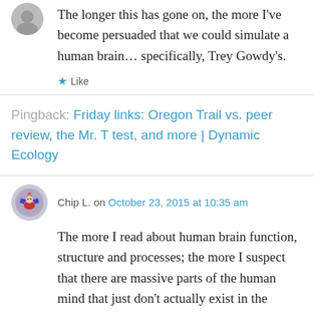The longer this has gone on, the more I've become persuaded that we could simulate a human brain… specifically, Trey Gowdy's.
★ Like
Pingback: Friday links: Oregon Trail vs. peer review, the Mr. T test, and more | Dynamic Ecology
Chip L. on October 23, 2015 at 10:35 am
The more I read about human brain function, structure and processes; the more I suspect that there are massive parts of the human mind that just don't actually exist in the currently measurable physical realm. Some have started